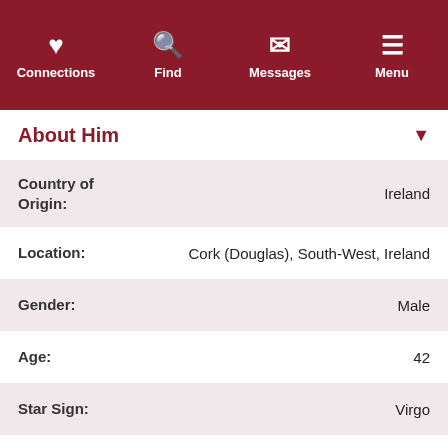Dating in Ireland — Navigation: Connections, Find, Messages, Menu
About Him
| Field | Value |
| --- | --- |
| Country of Origin: | Ireland |
| Location: | Cork (Douglas), South-West, Ireland |
| Gender: | Male |
| Age: | 42 |
| Star Sign: | Virgo |
| Height: | 183cm (6' 0.0") |